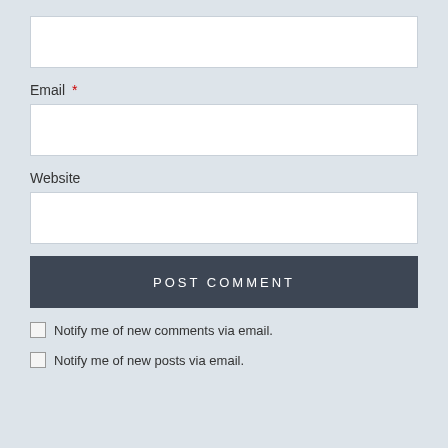[Figure (screenshot): Empty text input field (first, unlabeled, likely Name field)]
Email *
[Figure (screenshot): Empty text input field for Email]
Website
[Figure (screenshot): Empty text input field for Website]
POST COMMENT
Notify me of new comments via email.
Notify me of new posts via email.